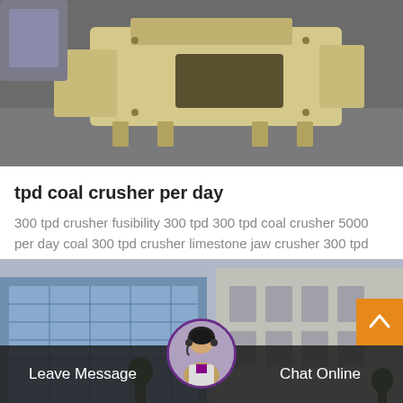[Figure (photo): Industrial crusher machine, beige/cream colored heavy machinery on a concrete floor in a factory setting]
tpd coal crusher per day
300 tpd crusher fusibility 300 tpd 300 tpd coal crusher 5000 per day coal 300 tpd crusher limestone jaw crusher 300 tpd 300 ton hr stone crushers 500 ton day spring cone crusher...
[Figure (photo): Modern office building exterior with glass facade and grey stone building]
Leave Message   Chat Online